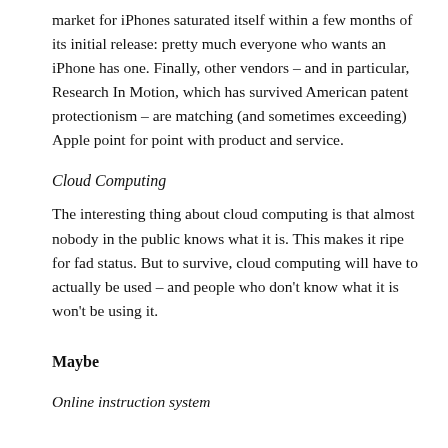market for iPhones saturated itself within a few months of its initial release: pretty much everyone who wants an iPhone has one. Finally, other vendors – and in particular, Research In Motion, which has survived American patent protectionism – are matching (and sometimes exceeding) Apple point for point with product and service.
Cloud Computing
The interesting thing about cloud computing is that almost nobody in the public knows what it is. This makes it ripe for fad status. But to survive, cloud computing will have to actually be used – and people who don't know what it is won't be using it.
Maybe
Online instruction system